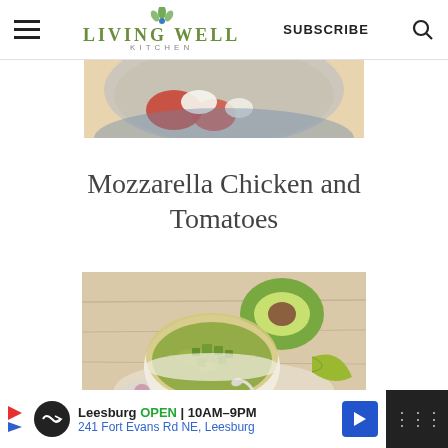Living Well Kitchen — SUBSCRIBE
[Figure (photo): Top portion of a food photo showing a dish with tomatoes and cheese in a pan, partially cropped at top]
Mozzarella Chicken and Tomatoes
[Figure (photo): Bowl of green chili soup topped with diced avocado, with a halved avocado and lime wedge on a floral cloth alongside]
Leesburg OPEN 10AM–9PM 241 Fort Evans Rd NE, Leesburg